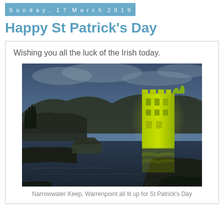Sunday, 17 March 2019
Happy St Patrick's Day
Wishing you all the luck of the Irish today.
[Figure (photo): Nighttime photo of Narrowwater Keep, a medieval tower lit up in bright yellow-green light, reflected in the water below, with dark hills in the background and a cloudy blue-grey sky.]
Narrowwater Keep, Warrenpoint all lit up for St Patrick's Day